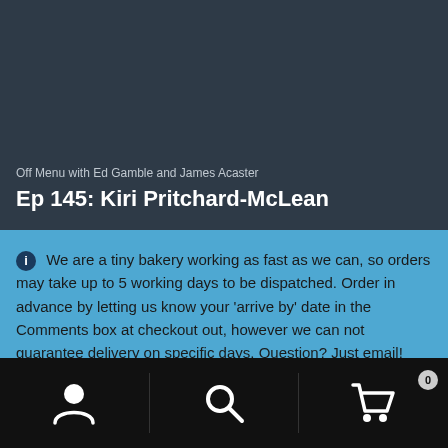Off Menu with Ed Gamble and James Acaster
Ep 145: Kiri Pritchard-McLean
We are a tiny bakery working as fast as we can, so orders may take up to 5 working days to be dispatched. Order in advance by letting us know your 'arrive by' date in the Comments box at checkout out, however we can not guarantee delivery on specific days. Question? Just email!
Dismiss
[Figure (infographic): Bottom navigation bar with user/account icon, search icon, and shopping cart icon with badge showing 0]